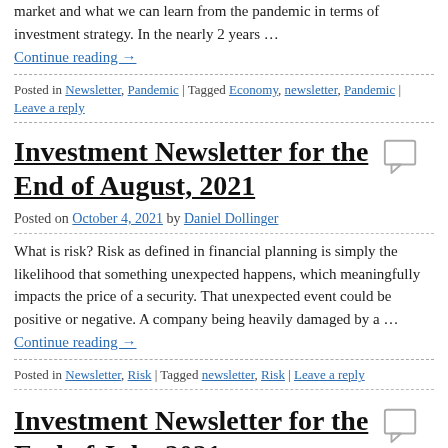market and what we can learn from the pandemic in terms of investment strategy. In the nearly 2 years …
Continue reading →
Posted in Newsletter, Pandemic | Tagged Economy, newsletter, Pandemic | Leave a reply
Investment Newsletter for the End of August, 2021
Posted on October 4, 2021 by Daniel Dollinger
What is risk? Risk as defined in financial planning is simply the likelihood that something unexpected happens, which meaningfully impacts the price of a security. That unexpected event could be positive or negative. A company being heavily damaged by a …
Continue reading →
Posted in Newsletter, Risk | Tagged newsletter, Risk | Leave a reply
Investment Newsletter for the End of July, 2021